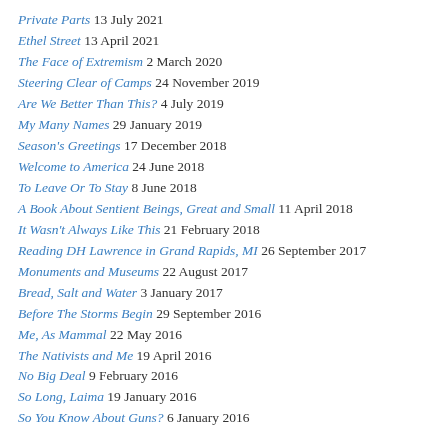Private Parts 13 July 2021
Ethel Street 13 April 2021
The Face of Extremism 2 March 2020
Steering Clear of Camps 24 November 2019
Are We Better Than This? 4 July 2019
My Many Names 29 January 2019
Season's Greetings 17 December 2018
Welcome to America 24 June 2018
To Leave Or To Stay 8 June 2018
A Book About Sentient Beings, Great and Small 11 April 2018
It Wasn't Always Like This 21 February 2018
Reading DH Lawrence in Grand Rapids, MI 26 September 2017
Monuments and Museums 22 August 2017
Bread, Salt and Water 3 January 2017
Before The Storms Begin 29 September 2016
Me, As Mammal 22 May 2016
The Nativists and Me 19 April 2016
No Big Deal 9 February 2016
So Long, Laima 19 January 2016
So You Know About Guns? 6 January 2016